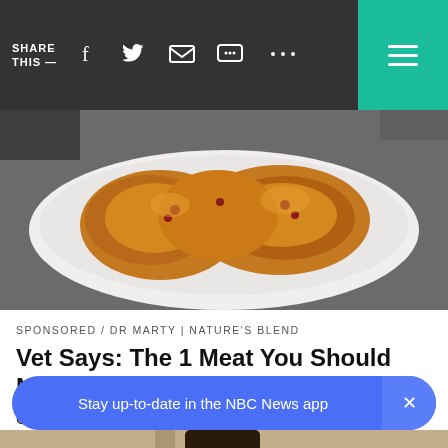SHARE THIS —
[Figure (photo): Cooked glazed chicken pieces on a white rectangular plate, close-up food photography]
SPONSORED / DR MARTY | NATURE'S BLEND
Vet Says: The 1 Meat You Should Never Feed Your Dog
Common pet food can shorten your favorite dogs life
[Figure (photo): Outdoor wall-mounted black lantern light fixture on a beige stucco wall]
Stay up-to-date in the NBC News app